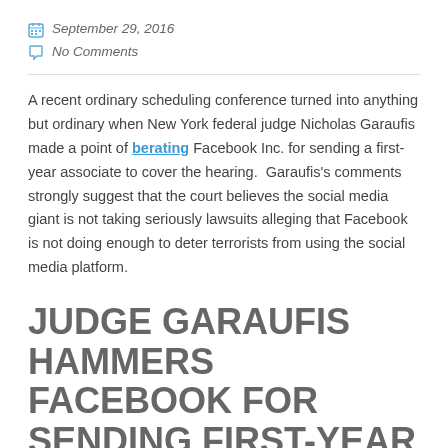September 29, 2016
No Comments
A recent ordinary scheduling conference turned into anything but ordinary when New York federal judge Nicholas Garaufis made a point of berating Facebook Inc. for sending a first-year associate to cover the hearing. Garaufis’s comments strongly suggest that the court believes the social media giant is not taking seriously lawsuits alleging that Facebook is not doing enough to deter terrorists from using the social media platform.
JUDGE GARAUFIS HAMMERS FACEBOOK FOR SENDING FIRST-YEAR ASSOCIATE TO HEARING